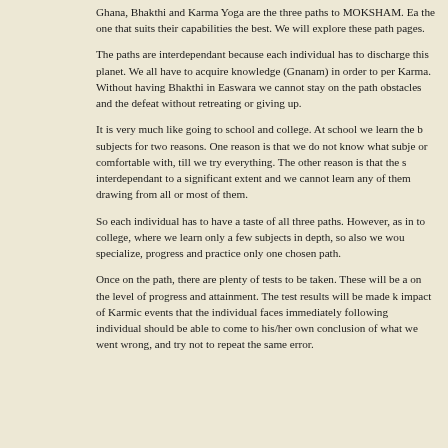Ghana, Bhakthi and Karma Yoga are the three paths to MOKSHAM. Each individual should choose the one that suits their capabilities the best. We will explore these paths in the following pages.
The paths are interdependant because each individual has to discharge his/her Karmic responsibilities on this planet. We all have to acquire knowledge (Gnanam) in order to perform our duties and responsibilities as Karma. Without having Bhakthi in Easwara we cannot stay on the path, especially when we face the obstacles and the defeat without retreating or giving up.
It is very much like going to school and college. At school we learn the basics of all the subjects for two reasons. One reason is that we do not know what subject we are good at or comfortable with, till we try everything. The other reason is that the subjects are interdependant to a significant extent and we cannot learn any of them well without drawing from all or most of them.
So each individual has to have a taste of all three paths. However, as in going from school to college, where we learn only a few subjects in depth, so also we would eventually specialize, progress and practice only one chosen path.
Once on the path, there are plenty of tests to be taken. These will be administered based on the level of progress and attainment. The test results will be made known through the impact of Karmic events that the individual faces immediately following the tests. The individual should be able to come to his/her own conclusion of what went right and what went wrong, and try not to repeat the same error.